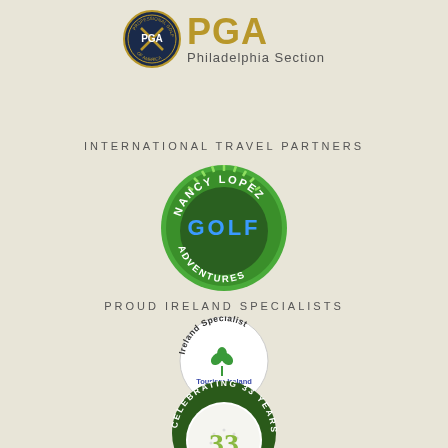[Figure (logo): PGA Philadelphia Section logo with badge and gold text]
INTERNATIONAL TRAVEL PARTNERS
[Figure (logo): Nancy Lopez Golf Adventures circular logo in green and blue]
PROUD IRELAND SPECIALISTS
[Figure (logo): Ireland Specialist Tourism Ireland circular badge with shamrock]
[Figure (logo): Celebrating 33 Years circular badge with golf ball and green border]